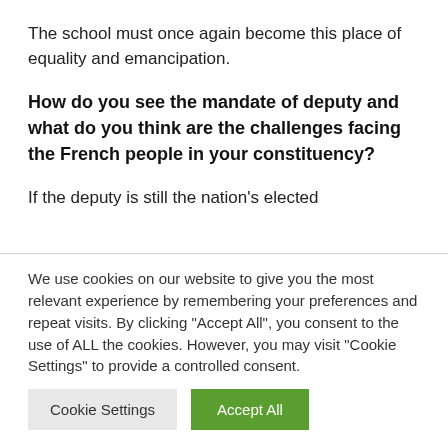The school must once again become this place of equality and emancipation.
How do you see the mandate of deputy and what do you think are the challenges facing the French people in your constituency?
If the deputy is still the nation’s elected
We use cookies on our website to give you the most relevant experience by remembering your preferences and repeat visits. By clicking “Accept All”, you consent to the use of ALL the cookies. However, you may visit "Cookie Settings" to provide a controlled consent.